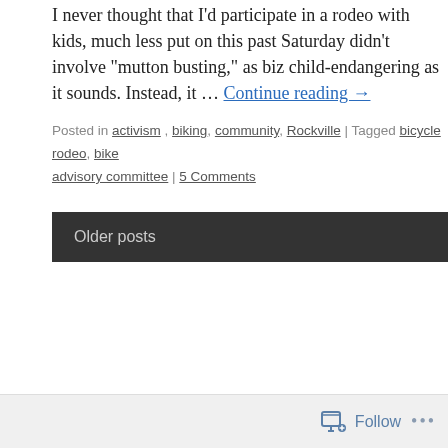I never thought that I'd participate in a rodeo with kids, much less put on this past Saturday didn't involve "mutton busting," as bizarre child-endangering as it sounds. Instead, it … Continue reading →
Posted in activism, biking, community, Rockville | Tagged bicycle rodeo, bike advisory committee | 5 Comments
Older posts
Follow ...